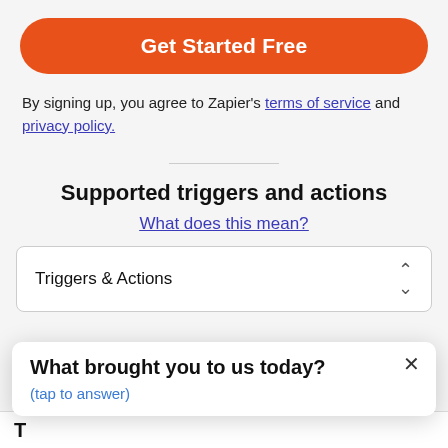Get Started Free
By signing up, you agree to Zapier's terms of service and privacy policy.
Supported triggers and actions
What does this mean?
Triggers & Actions
What brought you to us today?
(tap to answer)